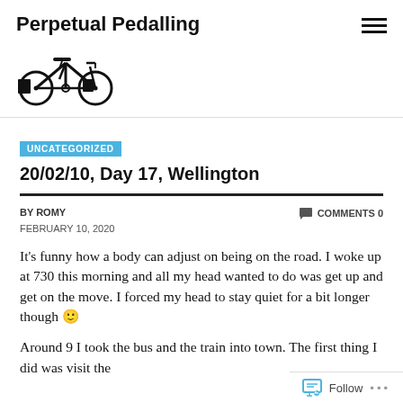Perpetual Pedalling
[Figure (illustration): Black silhouette of a touring bicycle with panniers]
UNCATEGORIZED
20/02/10, Day 17, Wellington
BY ROMY  FEBRUARY 10, 2020  COMMENTS 0
It's funny how a body can adjust on being on the road. I woke up at 730 this morning and all my head wanted to do was get up and get on the move. I forced my head to stay quiet for a bit longer though 🙂
Around 9 I took the bus and the train into town. The first thing I did was visit the